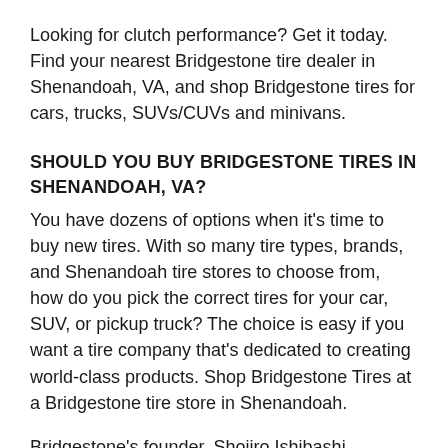Looking for clutch performance? Get it today. Find your nearest Bridgestone tire dealer in Shenandoah, VA, and shop Bridgestone tires for cars, trucks, SUVs/CUVs and minivans.
SHOULD YOU BUY BRIDGESTONE TIRES IN SHENANDOAH, VA?
You have dozens of options when it's time to buy new tires. With so many tire types, brands, and Shenandoah tire stores to choose from, how do you pick the correct tires for your car, SUV, or pickup truck? The choice is easy if you want a tire company that's dedicated to creating world-class products. Shop Bridgestone Tires at a Bridgestone tire store in Shenandoah.
Bridgestone's founder, Shojiro Ishibashi, envisioned a company that served society with superior quality. His vision comes to life in every tire we design and manufacture, leading to tires that push the boundaries of